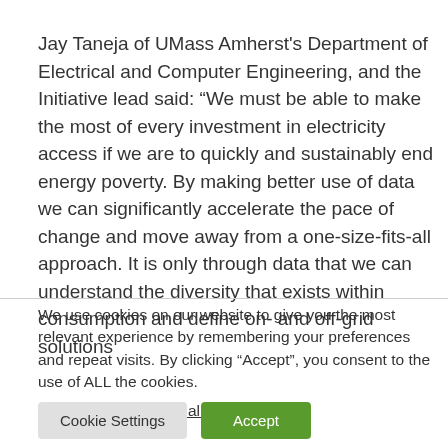Jay Taneja of UMass Amherst's Department of Electrical and Computer Engineering, and the Initiative lead said: "We must be able to make the most of every investment in electricity access if we are to quickly and sustainably end energy poverty. By making better use of data we can significantly accelerate the pace of change and move away from a one-size-fits-all approach. It is only through data that we can understand the diversity that exists within consumption and define on- and off-grid solutions
We use cookies on our website to give you the most relevant experience by remembering your preferences and repeat visits. By clicking “Accept”, you consent to the use of ALL the cookies.
Do not sell my personal information.